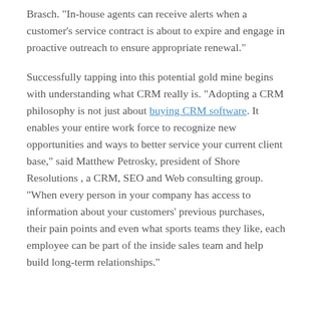Brasch. "In-house agents can receive alerts when a customer's service contract is about to expire and engage in proactive outreach to ensure appropriate renewal."
Successfully tapping into this potential gold mine begins with understanding what CRM really is. "Adopting a CRM philosophy is not just about buying CRM software. It enables your entire work force to recognize new opportunities and ways to better service your current client base," said Matthew Petrosky, president of Shore Resolutions , a CRM, SEO and Web consulting group. "When every person in your company has access to information about your customers' previous purchases, their pain points and even what sports teams they like, each employee can be part of the inside sales team and help build long-term relationships."